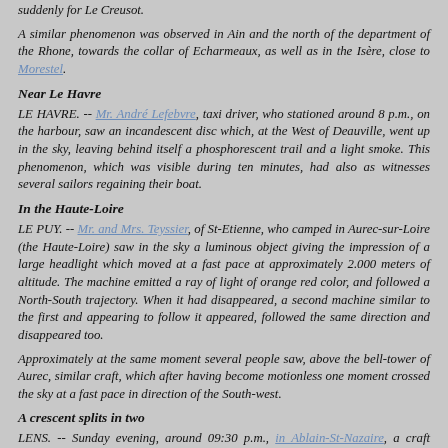suddenly for Le Creusot.
A similar phenomenon was observed in Ain and the north of the department of the Rhone, towards the collar of Echarmeaux, as well as in the Isère, close to Morestel.
Near Le Havre
LE HAVRE. -- Mr. André Lefebvre, taxi driver, who stationed around 8 p.m., on the harbour, saw an incandescent disc which, at the West of Deauville, went up in the sky, leaving behind itself a phosphorescent trail and a light smoke. This phenomenon, which was visible during ten minutes, had also as witnesses several sailors regaining their boat.
In the Haute-Loire
LE PUY. -- Mr. and Mrs. Teyssier, of St-Etienne, who camped in Aurec-sur-Loire (the Haute-Loire) saw in the sky a luminous object giving the impression of a large headlight which moved at a fast pace at approximately 2.000 meters of altitude. The machine emitted a ray of light of orange red color, and followed a North-South trajectory. When it had disappeared, a second machine similar to the first and appearing to follow it appeared, followed the same direction and disappeared too.
Approximately at the same moment several people saw, above the bell-tower of Aurec, similar craft, which after having become motionless one moment crossed the sky at a fast pace in direction of the South-west.
A crescent splits in two
LENS. -- Sunday evening, around 09:30 p.m., in Ablain-St-Nazaire, a craft which had the shape of a pot and which rotated was seen in the sky by two people. It released a reddish gleam and quickly moved.